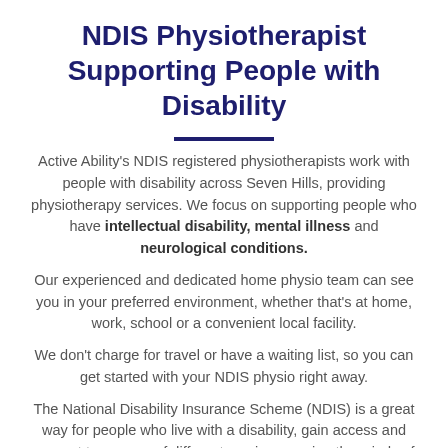NDIS Physiotherapist Supporting People with Disability
Active Ability's NDIS registered physiotherapists work with people with disability across Seven Hills, providing physiotherapy services. We focus on supporting people who have intellectual disability, mental illness and neurological conditions.
Our experienced and dedicated home physio team can see you in your preferred environment, whether that's at home, work, school or a convenient local facility.
We don't charge for travel or have a waiting list, so you can get started with your NDIS physio right away.
The National Disability Insurance Scheme (NDIS) is a great way for people who live with a disability, gain access and support to a range of different services, easing the minds of the participants, their families and